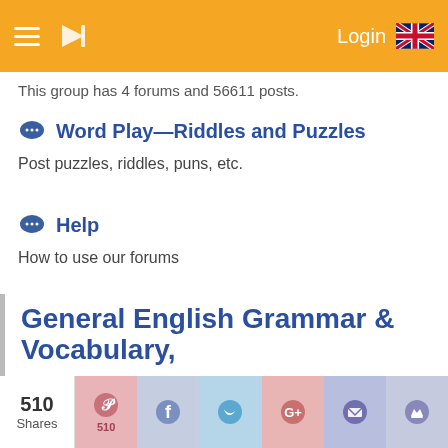Login
This group has 4 forums and 56611 posts.
Word Play—Riddles and Puzzles
Post puzzles, riddles, puns, etc.
Help
How to use our forums
Quotes
Post and discuss famous, memorable or cautionary quotations
General English Grammar & Vocabulary,
510 Shares